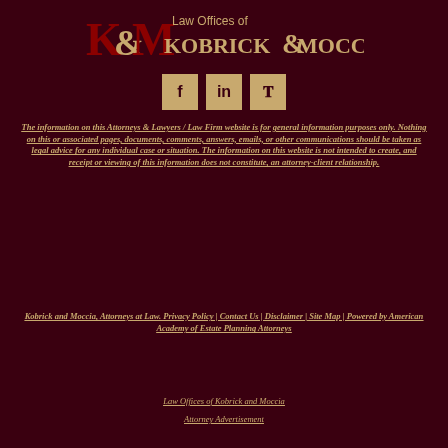[Figure (logo): Law Offices of Kobrick & Moccia logo with K&M emblem in red/gold and firm name in gold text]
[Figure (infographic): Three social media icon boxes (Facebook, LinkedIn, Twitter) in gold/tan color]
The information on this Attorneys & Lawyers / Law Firm website is for general information purposes only. Nothing on this or associated pages, documents, comments, answers, emails, or other communications should be taken as legal advice for any individual case or situation. The information on this website is not intended to create, and receipt or viewing of this information does not constitute, an attorney-client relationship.
Kobrick and Moccia, Attorneys at Law. Privacy Policy | Contact Us | Disclaimer | Site Map | Powered by American Academy of Estate Planning Attorneys
Law Offices of Kobrick and Moccia
Attorney Advertisement